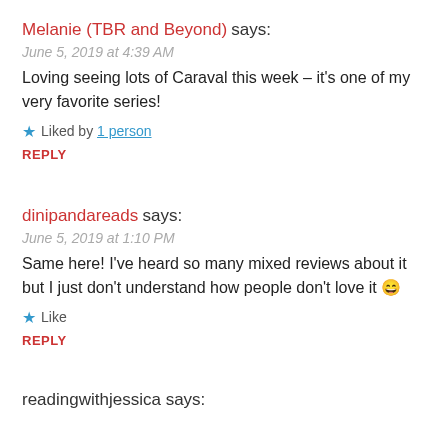Melanie (TBR and Beyond) says:
June 5, 2019 at 4:39 AM
Loving seeing lots of Caraval this week – it's one of my very favorite series!
★ Liked by 1 person
REPLY
dinipandareads says:
June 5, 2019 at 1:10 PM
Same here! I've heard so many mixed reviews about it but I just don't understand how people don't love it 😄
★ Like
REPLY
readingwithjessica says: